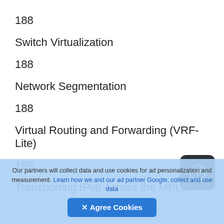188
Switch Virtualization
188
Network Segmentation
188
Virtual Routing and Forwarding (VRF-Lite)
189
Transporting IPv6 Across the MPLS Backbone
Our partners will collect data and use cookies for ad personalization and measurement. Learn how we and our ad partner Google, collect and use data
✕ Agree Cookies